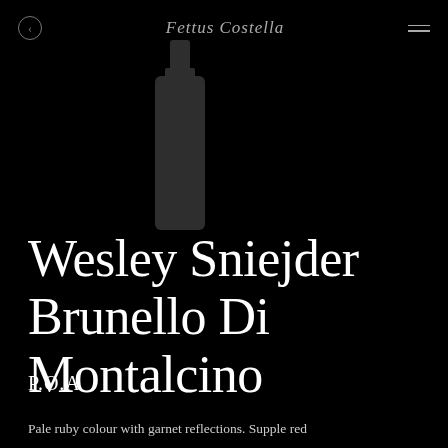Fettus Costella
Wesley Sniejder Brunello Di Montalcino
P.O.A
Pale ruby colour with garnet reflections. Supple red